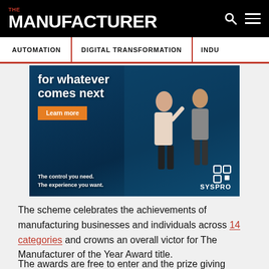THE MANUFACTURER
AUTOMATION | DIGITAL TRANSFORMATION | INDU...
[Figure (illustration): SYSPRO advertisement banner with text 'for whatever comes next', 'Learn more' button, tagline 'The control you need. The experience you want.' and SYSPRO logo, with two business people in an industrial setting]
The scheme celebrates the achievements of manufacturing businesses and individuals across 14 categories and crowns an overall victor for The Manufacturer of the Year Award title.
The awards are free to enter and the prize giving